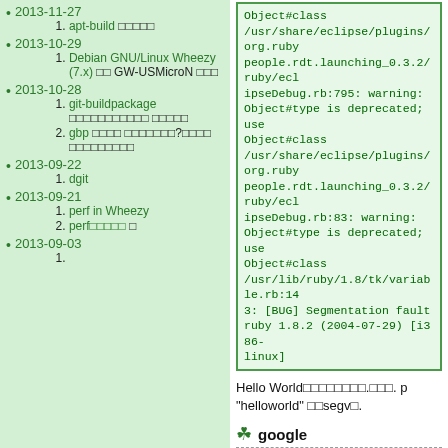2013-11-27
1. apt-build □□□□□
2013-10-29
1. Debian GNU/Linux Wheezy (7.x) □□ GW-USMicroN □□□
2013-10-28
1. git-buildpackage □□□□□□□□□□□ □□□□□
2. gbp □□□□ □□□□□□□?□□□□ □□□□□□□□□
2013-09-22
1. dgit
2013-09-21
1. perf in Wheezy
2. perf□□□□□ □
2013-09-03
Object#class /usr/share/eclipse/plugins/org.rubypeople.rdt.launching_0.3.2/ruby/eclipseDebug.rb:795: warning: Object#type is deprecated; use Object#class /usr/share/eclipse/plugins/org.rubypeople.rdt.launching_0.3.2/ruby/eclipseDebug.rb:83: warning: Object#type is deprecated; use Object#class /usr/lib/ruby/1.8/tk/variable.rb:143: [BUG] Segmentation fault ruby 1.8.2 (2004-07-29) [i386-linux]
Hello World□□□□□□□□.□□□. p "helloworld" □□segv□.
google
WBS□□□□□□, google□□□□□□□□100.01□□□□□□□□□